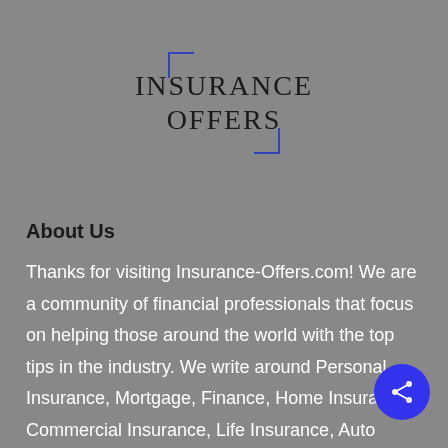INSURANCE OFFERS
About Us
Thanks for visiting Insurance-Offers.com! We are a community of financial professionals that focus on helping those around the world with the top tips in the industry. We write around Personal Insurance, Mortgage, Finance, Home Insurance, Commercial Insurance, Life Insurance, Auto Insurance, Health Insurance, and Travel Insurance.